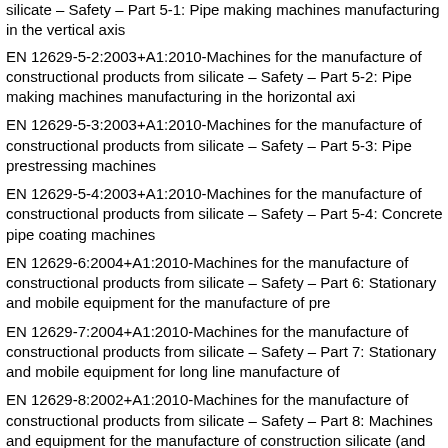silicate – Safety – Part 5-1: Pipe making machines manufacturing in the vertical axis [truncated at top]
EN 12629-5-2:2003+A1:2010-Machines for the manufacture of constructional products from silicate – Safety – Part 5-2: Pipe making machines manufacturing in the horizontal axis
EN 12629-5-3:2003+A1:2010-Machines for the manufacture of constructional products from silicate – Safety – Part 5-3: Pipe prestressing machines
EN 12629-5-4:2003+A1:2010-Machines for the manufacture of constructional products from silicate – Safety – Part 5-4: Concrete pipe coating machines
EN 12629-6:2004+A1:2010-Machines for the manufacture of constructional products from silicate – Safety – Part 6: Stationary and mobile equipment for the manufacture of pre [truncated]
EN 12629-7:2004+A1:2010-Machines for the manufacture of constructional products from silicate – Safety – Part 7: Stationary and mobile equipment for long line manufacture [truncated]
EN 12629-8:2002+A1:2010-Machines for the manufacture of constructional products from silicate – Safety – Part 8: Machines and equipment for the manufacture of construction silicate (and concrete)
EN 12635:2002+A1:2008-Industrial, commercial and garage doors and gates – Install [truncated]
EN 12643:1997+A1:2008-Earth-moving machinery – Rubber-tyred machines – Steeri [truncated]